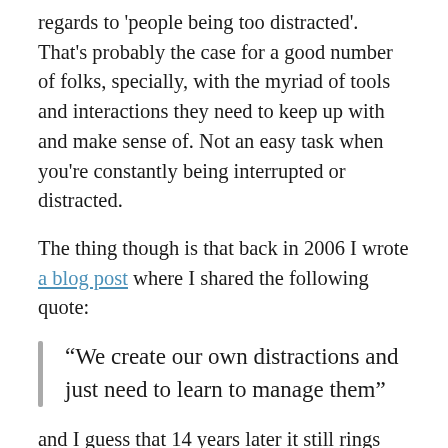regards to 'people being too distracted'. That's probably the case for a good number of folks, specially, with the myriad of tools and interactions they need to keep up with and make sense of. Not an easy task when you're constantly being interrupted or distracted.
The thing though is that back in 2006 I wrote a blog post where I shared the following quote:
“We create our own distractions and just need to learn to manage them”
and I guess that 14 years later it still rings true. We pretty much create those distractions, but at the same time we still need to learn how to manage them effectively 😅